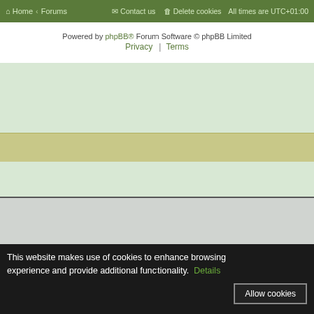Home · Forums | Contact us | Delete cookies | All times are UTC+01:00
Powered by phpBB® Forum Software © phpBB Limited
Privacy | Terms
[Figure (other): Green tinted background section (empty)]
[Figure (other): Tan/olive colored banner strip (empty)]
[Figure (other): Second green tinted background section (empty)]
www.HostXNow.com UK Web Hosting Servi...
www.LaptopGaming.co.uk for UK and www...
www.PineTarSoap.co.uk for UK and www.Pi...
www.MilitaryBootsUK.co.uk - Latest offers
This website makes use of cookies to enhance browsing experience and provide additional functionality.  Details
Allow cookies